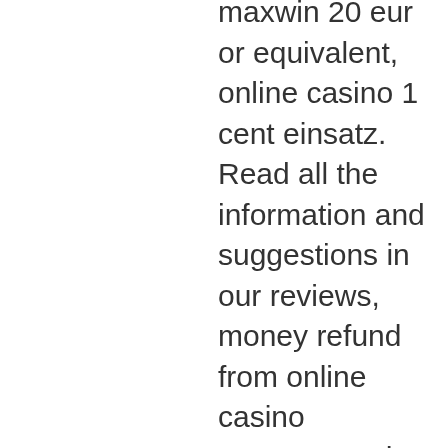maxwin 20 eur or equivalent, online casino 1 cent einsatz. Read all the information and suggestions in our reviews, money refund from online casino extremem. The largest online poker rooms have tens of thousands of players around the clock and dozens of online rooms have over 1,000 texas holdem players waiting for. To try a no-risk. Play poker with friends from the palm of your hand. Easypoker connects you with friends and family over a fun and social game of poker. Spela governor of poker 2-spel på funnygames! hallå där! äntligen är den här: governor of poker 2! full med roliga extragrejer! gratisspel. Play free poker online in wsop! start with 250,000 free poker chips and start playing online poker like a pro! poker games are available 24/7 – there's always. Play online poker without restriction or cost! compete with community, your friends or